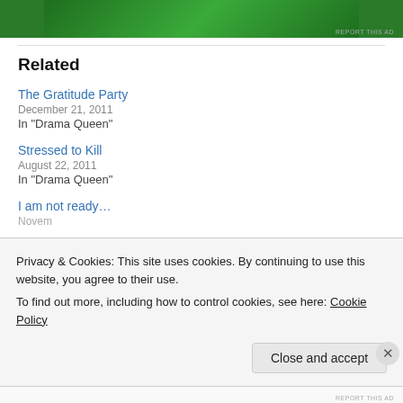[Figure (other): Green advertisement banner at top of page]
Related
The Gratitude Party
December 21, 2011
In "Drama Queen"
Stressed to Kill
August 22, 2011
In "Drama Queen"
I am not ready…
Privacy & Cookies: This site uses cookies. By continuing to use this website, you agree to their use.
To find out more, including how to control cookies, see here: Cookie Policy